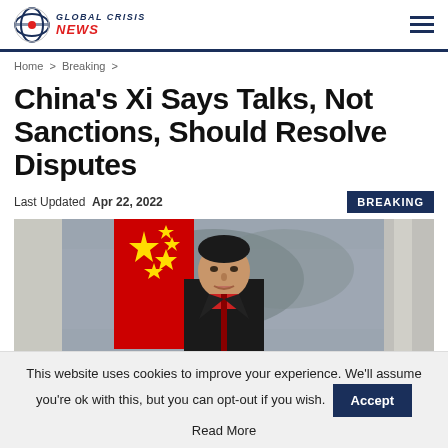GLOBAL CRISIS NEWS
Home > Breaking >
China's Xi Says Talks, Not Sanctions, Should Resolve Disputes
Last Updated Apr 22, 2022  BREAKING
[Figure (photo): Xi Jinping speaking at a podium with a red Chinese flag behind him and a landscape mural in the background]
This website uses cookies to improve your experience. We'll assume you're ok with this, but you can opt-out if you wish. Accept Read More